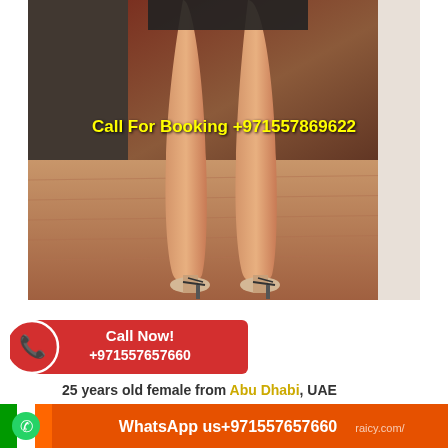[Figure (photo): Photo of a woman's legs wearing high heels, standing on a wooden floor with a dark background]
Call For Booking +971557869622
[Figure (infographic): Red Call Now button with phone icon showing +971557657660]
25 years old female from Abu Dhabi, UAE
☎Call me +971557869622 /Whatsapp☎(only
[Figure (infographic): Orange WhatsApp banner with green flag icon showing WhatsApp us+971557657660]
Abu singh is a beautiful and passionate escort. A